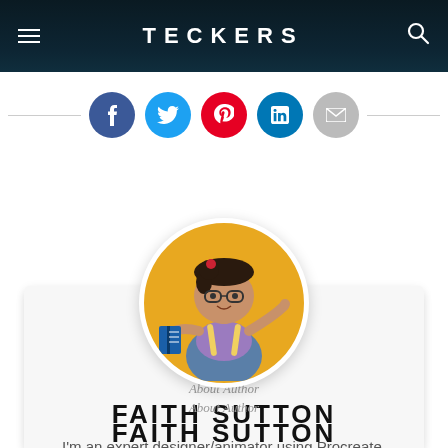TECKERS
[Figure (infographic): Social media share icons row: Facebook (dark blue), Twitter (light blue), Pinterest (red), LinkedIn (teal), Email (gray), with horizontal lines on either side]
[Figure (illustration): Circular avatar with yellow/golden background showing a cartoon female character with glasses, dark hair in a bun, wearing overalls and a purple shirt, holding a book and pointing]
About Author
FAITH SUTTON
I'm an expert designer/animator using Procreate.
[Figure (infographic): Twitter and Instagram social icons in teal color at bottom of author card]